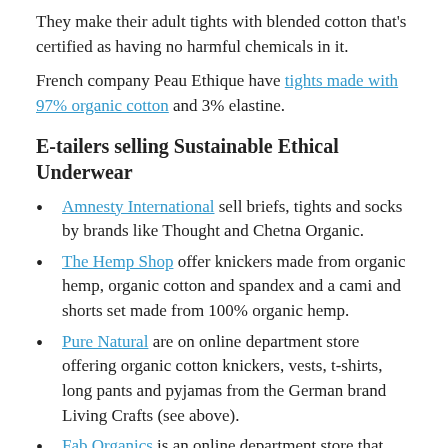They make their adult tights with blended cotton that's certified as having no harmful chemicals in it.
French company Peau Ethique have tights made with 97% organic cotton and 3% elastine.
E-tailers selling Sustainable Ethical Underwear
Amnesty International sell briefs, tights and socks by brands like Thought and Chetna Organic.
The Hemp Shop offer knickers made from organic hemp, organic cotton and spandex and a cami and shorts set made from 100% organic hemp.
Pure Natural are on online department store offering organic cotton knickers, vests, t-shirts, long pants and pyjamas from the German brand Living Crafts (see above).
Fab Organics is an online department store that offers